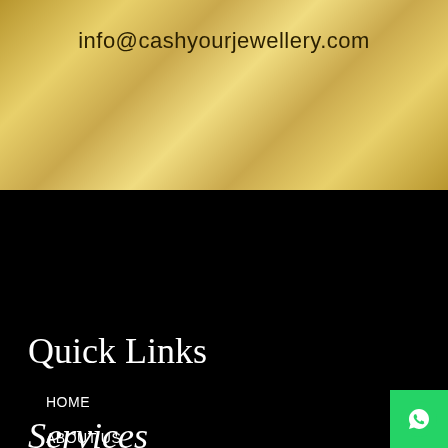info@cashyourjewellery.com
Quick Links
HOME
ABOUT US
OUR SERVICES
CONTACT US
Services